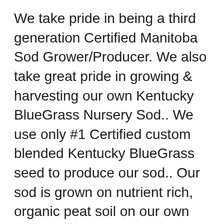We take pride in being a third generation Certified Manitoba Sod Grower/Producer. We also take great pride in growing & harvesting our own Kentucky BlueGrass Nursery Sod.. We use only #1 Certified custom blended Kentucky BlueGrass seed to produce our sod.. Our sod is grown on nutrient rich, organic peat soil on our own nursery sod farm located at Stead, Manitoba. Blue Grass Sod Producers Ltd described in the category Business. On this page you can find detailed information about the "Blue Grass Sod Producers Ltd". For a letter, use the address 1278 Marchand Rd., Winnipeg, Manitoba R3V 1L2, Winnipeg, MANITOBA R3V 1L2. You